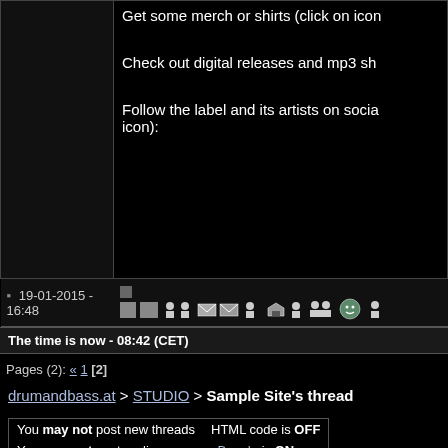Get some merch or shirts (click on icon
Check out digital releases and mp3 sh
Follow the label and its artists on socia icon):
19-01-2015 - 16:48
The time is now - 08:42 (CET)
Pages (2): « 1 [2]
drumandbass.at > STUDIO > Sample Site's thread
| Permissions | Code settings |
| --- | --- |
| You may not post new threads | HTML code is OFF |
| You may not post replies | vB code is ON |
| You may not post attachments | Smilies are ON |
| You may not edit your posts | [IMG] code is ON |